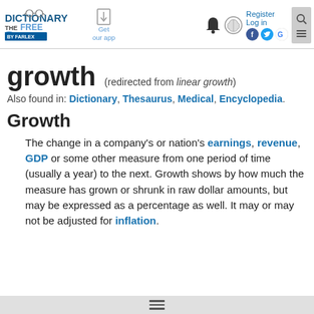The Free Dictionary by Farlex — Get our app — Register — Log in
growth (redirected from linear growth)
Also found in: Dictionary, Thesaurus, Medical, Encyclopedia.
Growth
The change in a company's or nation's earnings, revenue, GDP or some other measure from one period of time (usually a year) to the next. Growth shows by how much the measure has grown or shrunk in raw dollar amounts, but may be expressed as a percentage as well. It may or may not be adjusted for inflation.